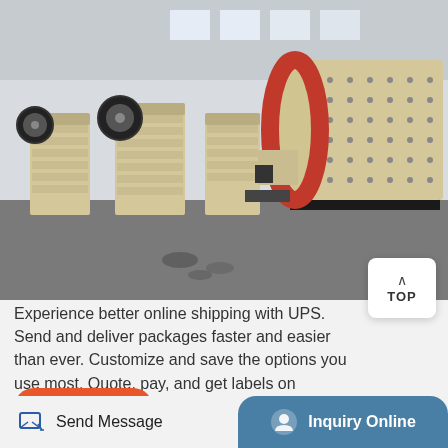[Figure (photo): Industrial machinery in a factory warehouse — large ball mill/grinding drum on the right with red ring gear, and several jaw crushers or similar equipment on the left, all in cream/beige color on a concrete floor under a large industrial building.]
Experience better online shipping with UPS. Send and deliver packages faster and easier than ever. Customize and save the options you use most. Quote, pay, and get labels on ups.com
Get Price
Send Message
Inquiry Online